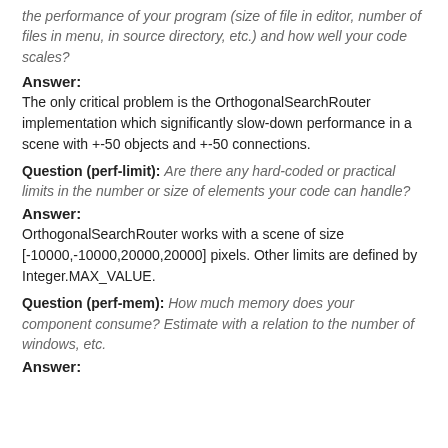the performance of your program (size of file in editor, number of files in menu, in source directory, etc.) and how well your code scales?
Answer:
The only critical problem is the OrthogonalSearchRouter implementation which significantly slow-down performance in a scene with +-50 objects and +-50 connections.
Question (perf-limit): Are there any hard-coded or practical limits in the number or size of elements your code can handle?
Answer:
OrthogonalSearchRouter works with a scene of size [-10000,-10000,20000,20000] pixels. Other limits are defined by Integer.MAX_VALUE.
Question (perf-mem): How much memory does your component consume? Estimate with a relation to the number of windows, etc.
Answer: